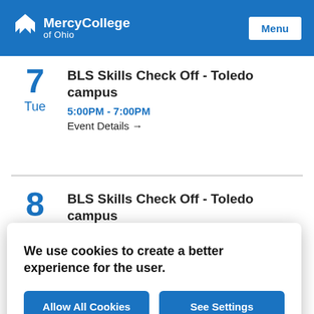[Figure (logo): Mercy College of Ohio logo — white M-bird icon and text on blue header background]
Menu
BLS Skills Check Off - Toledo campus
5:00PM - 7:00PM
Event Details →
BLS Skills Check Off - Toledo campus
We use cookies to create a better experience for the user.
Allow All Cookies
See Settings
SU22 10 WK - Last Day Withdraw Courses Receive